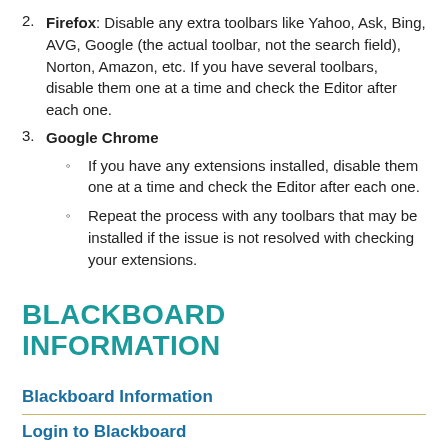2. Firefox: Disable any extra toolbars like Yahoo, Ask, Bing, AVG, Google (the actual toolbar, not the search field), Norton, Amazon, etc. If you have several toolbars, disable them one at a time and check the Editor after each one.
3. Google Chrome
◦ If you have any extensions installed, disable them one at a time and check the Editor after each one.
◦ Repeat the process with any toolbars that may be installed if the issue is not resolved with checking your extensions.
BLACKBOARD INFORMATION
Blackboard Information
Login to Blackboard
Online Learning